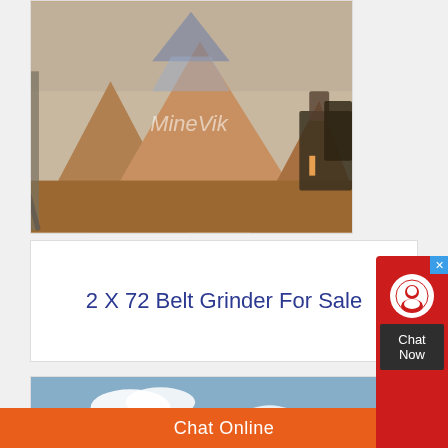[Figure (photo): Mining/quarry scene showing large sand/gravel piles with machinery, MineVik watermark overlay]
2 X 72 Belt Grinder For Sale
[Figure (photo): Outdoor mining equipment scene showing crushers and conveyors in a desert landscape, MineVik watermark overlay]
Chat Online